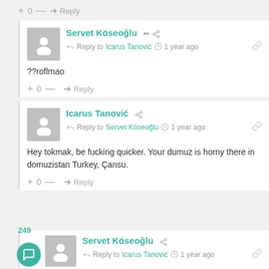+ 0 — → Reply
Servet Köseoğlu • Reply to Icarus Tanović • 1 year ago
??roflmao
+ 0 — → Reply
Icarus Tanović • Reply to Servet Köseoğlu • 1 year ago
Hey tokmak, be fucking quicker. Your dumuz is horny there in domuzistan Turkey, Çansu.
+ 0 — → Reply
249
Servet Köseoğlu • Reply to Icarus Tanović • 1 year ago